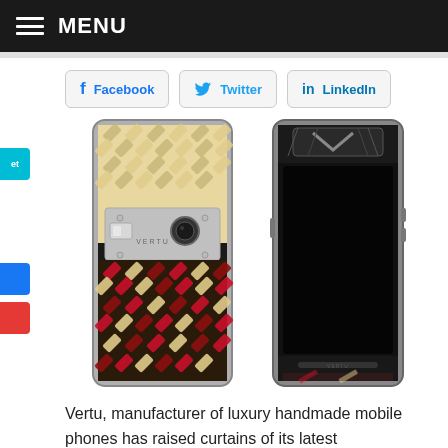MENU
[Figure (screenshot): Social sharing buttons row: Facebook, Twitter, LinkedIn]
[Figure (photo): Two Vertu luxury smartphones shown side by side — left showing back with decorative woven/plaid pattern in cream and red/dark colors with camera and VERTU logo panel; right showing front with black screen and metallic frame with decorative top piece]
Vertu, manufacturer of luxury handmade mobile phones has raised curtains of its latest masterpiece.